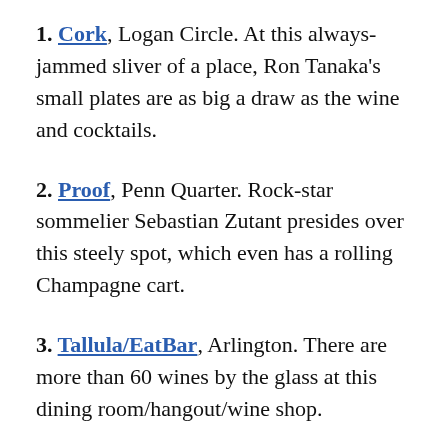1. Cork, Logan Circle. At this always-jammed sliver of a place, Ron Tanaka's small plates are as big a draw as the wine and cocktails.
2. Proof, Penn Quarter. Rock-star sommelier Sebastian Zutant presides over this steely spot, which even has a rolling Champagne cart.
3. Tallula/EatBar, Arlington. There are more than 60 wines by the glass at this dining room/hangout/wine shop.
Best Seafood